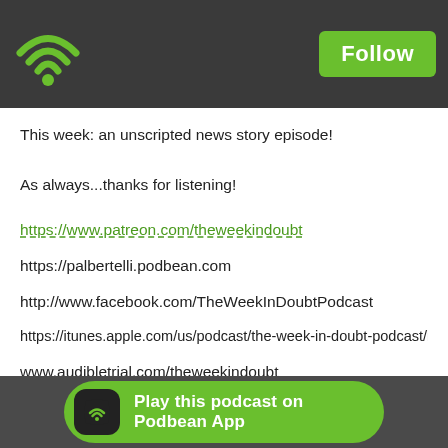[Figure (logo): Podbean WiFi/podcast icon in green on dark header bar with Follow button]
This week: an unscripted news story episode!
As always...thanks for listening!
https://www.patreon.com/theweekindoubt
https://palbertelli.podbean.com
http://www.facebook.com/TheWeekInDoubtPodcast
https://itunes.apple.com/us/podcast/the-week-in-doubt-podcast/id510160837
www.audibletrial.com/theweekindoubt
Twitter: @theweekindoubt
Also available on Stitcher
[Figure (screenshot): Play this podcast on Podbean App button with green pill shape and Podbean icon]